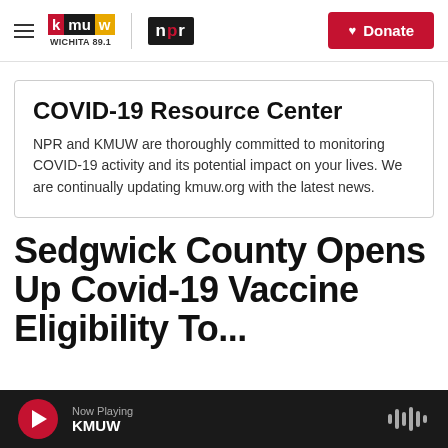KMUW WICHITA 89.1 | NPR | Donate
COVID-19 Resource Center
NPR and KMUW are thoroughly committed to monitoring COVID-19 activity and its potential impact on your lives. We are continually updating kmuw.org with the latest news.
Sedgwick County Opens Up Covid-19 Vaccine Eligibility To...
Now Playing KMUW